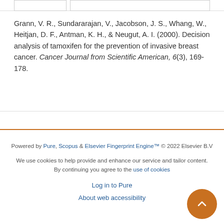Grann, V. R., Sundararajan, V., Jacobson, J. S., Whang, W., Heitjan, D. F., Antman, K. H., & Neugut, A. I. (2000). Decision analysis of tamoxifen for the prevention of invasive breast cancer. Cancer Journal from Scientific American, 6(3), 169-178.
Powered by Pure, Scopus & Elsevier Fingerprint Engine™ © 2022 Elsevier B.V

We use cookies to help provide and enhance our service and tailor content. By continuing you agree to the use of cookies

Log in to Pure

About web accessibility